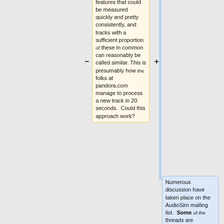features that could be measured quickly and pretty consistently, and tracks with a sufficient proportion of these in common can reasonably be called similar. This is presumably how the folks at pandora.com manage to process a new track in 20 seconds.  Could this approach work?
Numerous discussion have taken place on the AudioSim mailing list.  Some of the threads are